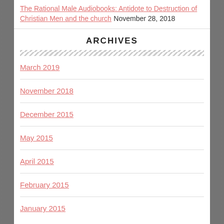The Rational Male Audiobooks: Antidote to Destruction of Christian Men and the church November 28, 2018
ARCHIVES
March 2019
November 2018
December 2015
May 2015
April 2015
February 2015
January 2015